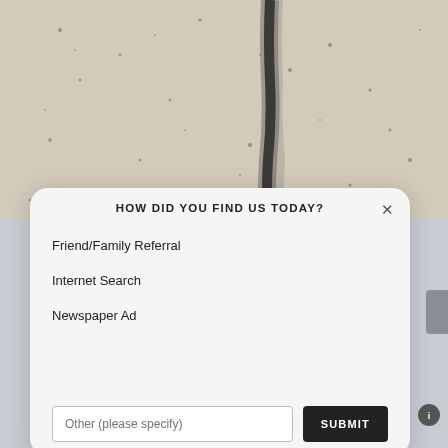[Figure (photo): Black and white aerial or close-up photograph showing a dark crack or line running vertically through a light-colored textured surface (possibly concrete, snow, or salt flat), with scattered dark speckles.]
HOW DID YOU FIND US TODAY?
Friend/Family Referral
Internet Search
Newspaper Ad
Other (please specify)
SUBMIT